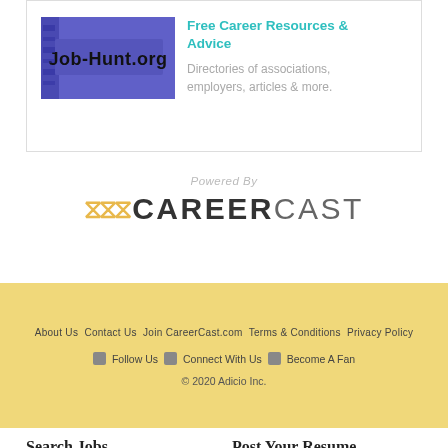[Figure (logo): Job-Hunt.org logo - blue/purple background with text 'Job-Hunt.org' in dark letters with decorative background]
Free Career Resources & Advice
Directories of associations, employers, articles & more.
[Figure (logo): CareerCast logo with 'Powered By' text above and wave icon followed by CAREERCAST in bold dark letters]
About Us   Contact Us   Join CareerCast.com   Terms & Conditions   Privacy Policy
Follow Us   Connect With Us   Become A Fan
© 2020 Adicio Inc.
Search Jobs
Advanced Job Search
Post Your Resume
Create A Resume